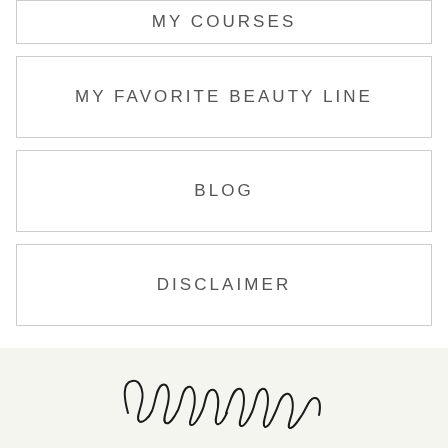MY COURSES
MY FAVORITE BEAUTY LINE
BLOG
DISCLAIMER
[Figure (illustration): Handwritten cursive signature/logo in script font at the bottom of the page on a light gray background]